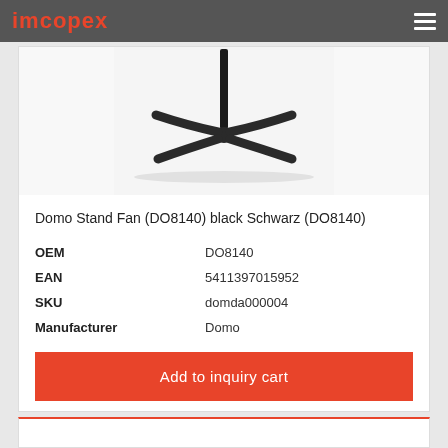imcopex
[Figure (photo): Bottom base/stand of a black Domo Stand Fan (DO8140), showing an X-shaped cross base with four legs extending outward, on a white background with subtle shadow reflection.]
Domo Stand Fan (DO8140) black Schwarz (DO8140)
| OEM | DO8140 |
| EAN | 5411397015952 |
| SKU | domda000004 |
| Manufacturer | Domo |